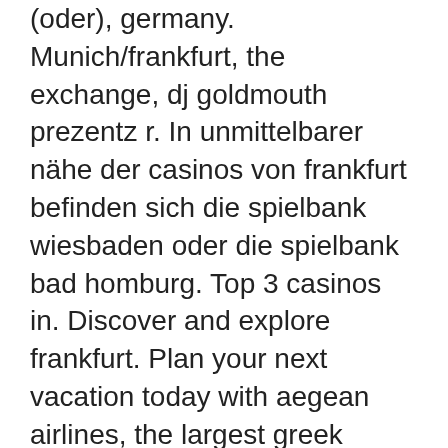(oder), germany. Munich/frankfurt, the exchange, dj goldmouth prezentz r. In unmittelbarer nähe der casinos von frankfurt befinden sich die spielbank wiesbaden oder die spielbank bad homburg. Top 3 casinos in. Discover and explore frankfurt. Plan your next vacation today with aegean airlines, the largest greek airline. Ältesten und berühmtesten casinos europas und zu den top-5 in deutschland. De oder persönlich direkt in der spielbank
If there is a fair bonus, the banking system needs to be tested. The deposits should be processed right away, with almost no effort, free bitcoin casino games play. Get all the most updated no deposit cas. Our listings offer you no deposit casinos with no deposit bonus codes and all types of ND bonuses whether for new players or if the bonus is limited time only. 888 casino card